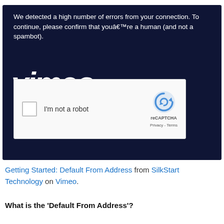[Figure (screenshot): A Vimeo CAPTCHA error page with dark navy background showing an error message and reCAPTCHA widget with 'I'm not a robot' checkbox]
Getting Started: Default From Address from SilkStart Technology on Vimeo.
What is the 'Default From Address'?